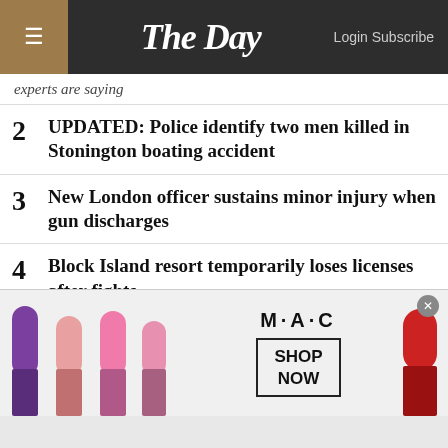The Day — Login Subscribe
experts are saying
2  UPDATED: Police identify two men killed in Stonington boating accident
3  New London officer sustains minor injury when gun discharges
4  Block Island resort temporarily loses licenses after fights
5  Ledyard police charge convicted sex offender on probation with...
[Figure (advertisement): MAC Cosmetics advertisement showing lipsticks in purple, pink, and red colors with 'SHOP NOW' call-to-action button]